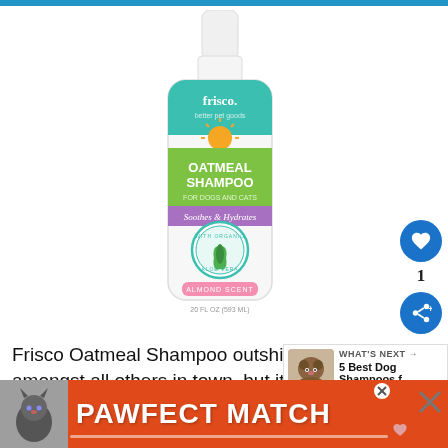[Figure (photo): Frisco brand white bottle of Oatmeal Shampoo for dogs and cats, with teal Frisco logo at top, green label reading OATMEAL SHAMPOO, cursive text Soothes & Hydrates, aloe vera badge, almond scent label at bottom. 20 fl oz (593 ml).]
Frisco Oatmeal Shampoo outshines your dog amongst all others in town, but it is also … moisturize and protect the itchy and dry skin
[Figure (photo): What's Next panel showing a dog with text '5 Best Dog Shampoos f...']
[Figure (infographic): Advertisement banner: PAWFECT MATCH with a cat photo on orange/red background]